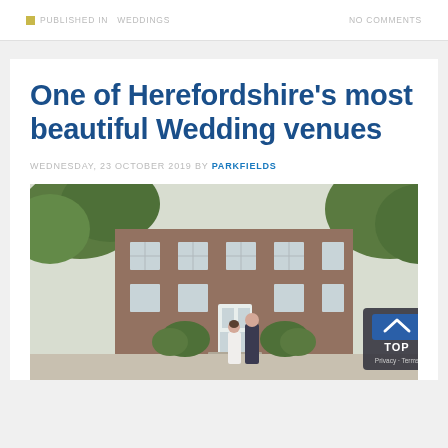PUBLISHED IN   WEDDINGS   NO COMMENTS
One of Herefordshire's most beautiful Wedding venues
WEDNESDAY, 23 OCTOBER 2019 BY PARKFIELDS
[Figure (photo): Exterior photo of a historic red-brick country house wedding venue. A bride and groom are standing on the driveway in front of the building. The house has multiple windows and is surrounded by trees and gardens. A small 'TOP' navigation button overlay appears in the bottom-right corner.]